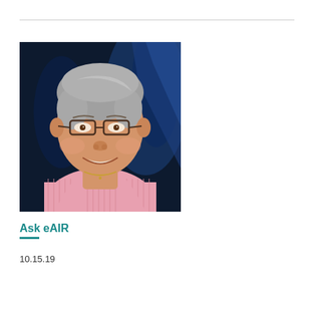[Figure (photo): Portrait photo of a woman with short gray hair, glasses, wearing a pink striped shirt and gold necklace, smiling against a dark blue background.]
Ask eAIR
10.15.19